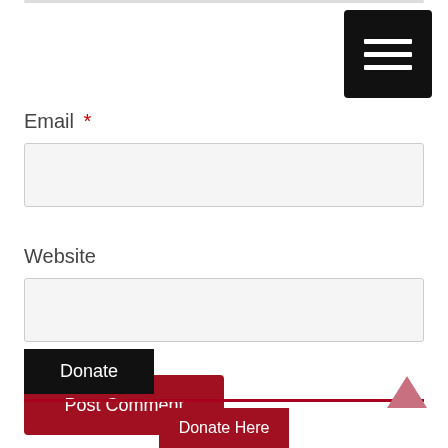[Figure (other): Hamburger menu button (black square with three white horizontal bars)]
Email *
[Figure (other): Email input field (light grey rectangle)]
Website
[Figure (other): Website input field (light grey rectangle)]
Post Comment
Donate
Donate Here